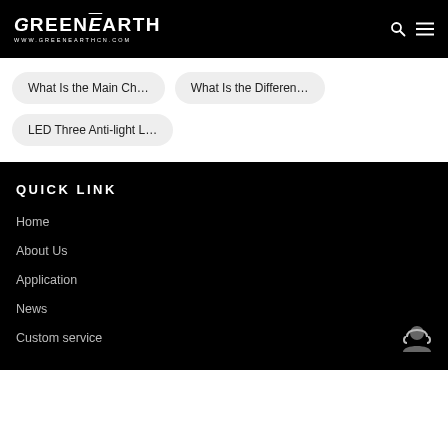GreenEarth www.greenearthcn.com
What Is the Main Ch…
What Is the Differen…
LED Three Anti-light L…
QUICK LINK
Home
About Us
Application
News
Custom service